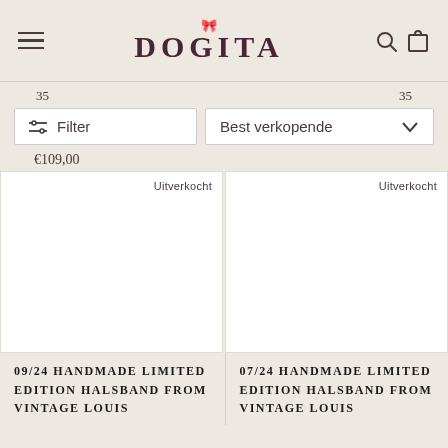DOGITA — navigation header with hamburger menu, logo, search and bag icons
35  35
Filter  Best verkopende
€109,00
Uitverkocht  Uitverkocht
[Figure (photo): Product image left — white/blank product card, Uitverkocht badge]
[Figure (photo): Product image right — white/blank product card, Uitverkocht badge]
09/24 HANDMADE LIMITED EDITION HALSBAND FROM VINTAGE LOUIS
07/24 HANDMADE LIMITED EDITION HALSBAND FROM VINTAGE LOUIS